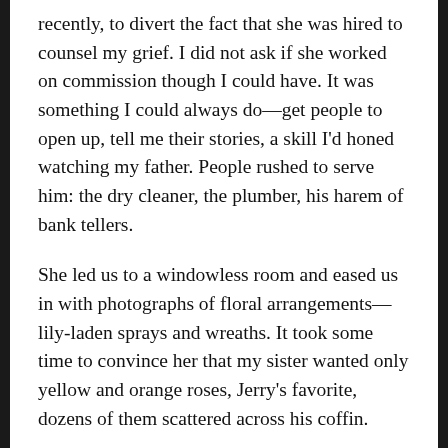recently, to divert the fact that she was hired to counsel my grief. I did not ask if she worked on commission though I could have. It was something I could always do—get people to open up, tell me their stories, a skill I'd honed watching my father. People rushed to serve him: the dry cleaner, the plumber, his harem of bank tellers.
She led us to a windowless room and eased us in with photographs of floral arrangements—lily-laden sprays and wreaths. It took some time to convince her that my sister wanted only yellow and orange roses, Jerry's favorite, dozens of them scattered across his coffin.
Casket, she corrected me.
My brother kept a running total as I flipped through the catalog of caskets. The last few were rough wood boxes with the Star of David carved into the top, the